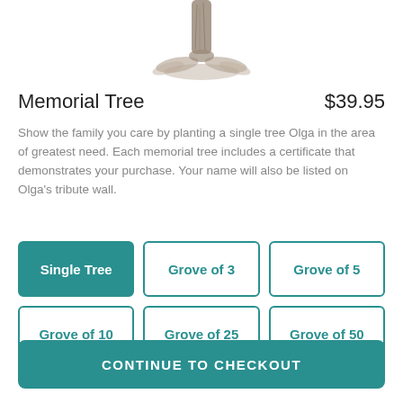[Figure (illustration): Bottom portion of a tree trunk with roots, pencil sketch style illustration]
Memorial Tree
$39.95
Show the family you care by planting a single tree Olga in the area of greatest need. Each memorial tree includes a certificate that demonstrates your purchase. Your name will also be listed on Olga's tribute wall.
Single Tree
Grove of 3
Grove of 5
Grove of 10
Grove of 25
Grove of 50
CONTINUE TO CHECKOUT